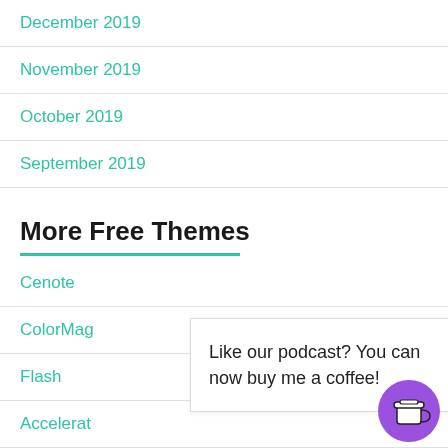December 2019
November 2019
October 2019
September 2019
More Free Themes
Cenote
ColorMag
Flash
Accelerat
Suffice
eStore
FitClub
Like our podcast? You can now buy me a coffee!